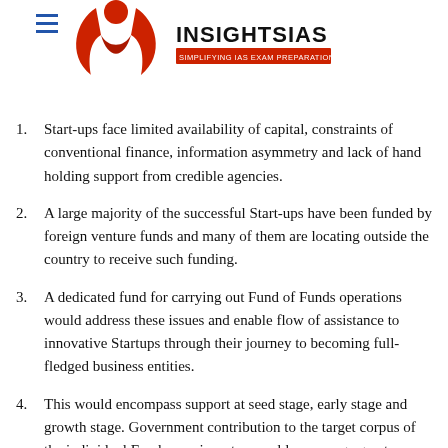[Figure (logo): InsightsIAS logo with red bird/book icon and text 'INSIGHTSIAS SIMPLIFYING IAS EXAM PREPARATION']
1. Start-ups face limited availability of capital, constraints of conventional finance, information asymmetry and lack of hand holding support from credible agencies.
2. A large majority of the successful Start-ups have been funded by foreign venture funds and many of them are locating outside the country to receive such funding.
3. A dedicated fund for carrying out Fund of Funds operations would address these issues and enable flow of assistance to innovative Startups through their journey to becoming full-fledged business entities.
4. This would encompass support at seed stage, early stage and growth stage. Government contribution to the target corpus of the individual Fund as an investor would encourage greater participation of private capital and thus help leverage mobilization of larger resources.